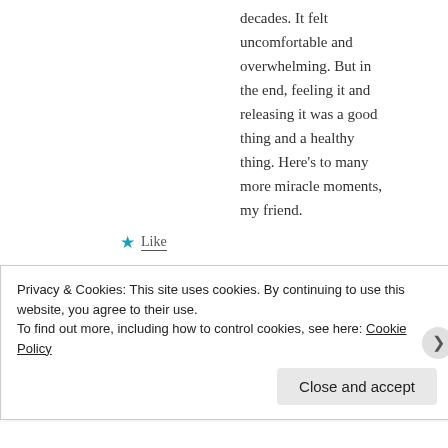decades. It felt uncomfortable and overwhelming. But in the end, feeling it and releasing it was a good thing and a healthy thing. Here's to many more miracle moments, my friend.
★ Like
↩ Reply
food4thoughtnyc
MAY 4, 2013 AT 2:03 PM
Privacy & Cookies: This site uses cookies. By continuing to use this website, you agree to their use.
To find out more, including how to control cookies, see here: Cookie Policy
Close and accept